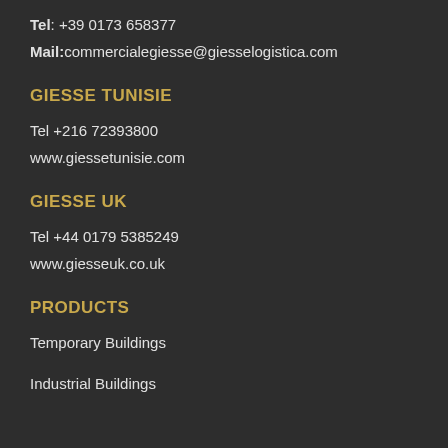Tel: +39 0173 658377
Mail:commercialegiesse@giesselogistica.com
GIESSE TUNISIE
Tel +216 72393800
www.giessetunisie.com
GIESSE UK
Tel +44 0179 5385249
www.giesseuk.co.uk
PRODUCTS
Temporary Buildings
Industrial Buildings